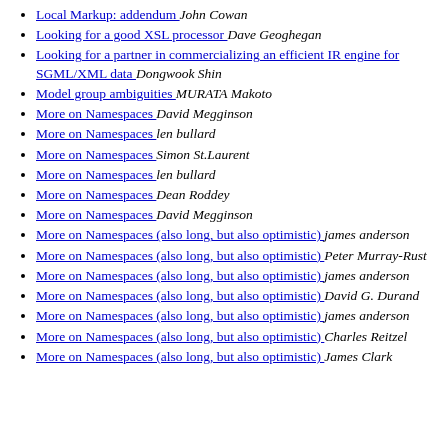Local Markup: addendum  John Cowan
Looking for a good XSL processor  Dave Geoghegan
Looking for a partner in commercializing an efficient IR engine for SGML/XML data  Dongwook Shin
Model group ambiguities  MURATA Makoto
More on Namespaces  David Megginson
More on Namespaces  len bullard
More on Namespaces  Simon St.Laurent
More on Namespaces  len bullard
More on Namespaces  Dean Roddey
More on Namespaces  David Megginson
More on Namespaces (also long, but also optimistic)  james anderson
More on Namespaces (also long, but also optimistic)  Peter Murray-Rust
More on Namespaces (also long, but also optimistic)  james anderson
More on Namespaces (also long, but also optimistic)  David G. Durand
More on Namespaces (also long, but also optimistic)  james anderson
More on Namespaces (also long, but also optimistic)  Charles Reitzel
More on Namespaces (also long, but also optimistic)  James Clark